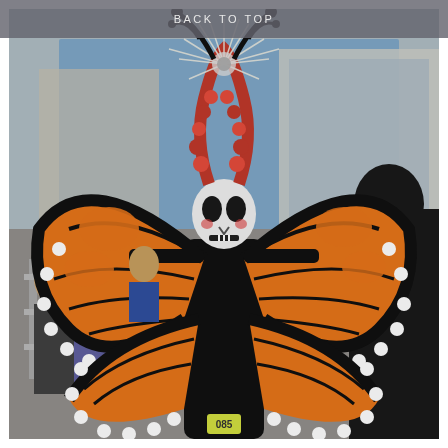BACK TO TOP
[Figure (photo): A person in a Day of the Dead (Día de los Muertos) costume wearing large orange and black monarch butterfly wings with white dots along the edges, a skull face mask, and an elaborate headdress with red flowers and radiating spokes, standing in a street parade. The person wears number tag 085. Spectators and barriers are visible in the background.]